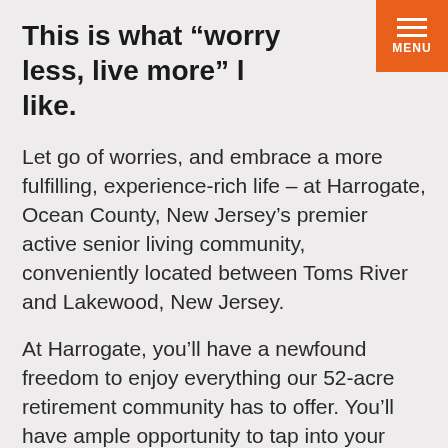This is what “worry less, live more” looks like.
Let go of worries, and embrace a more fulfilling, experience-rich life – at Harrogate, Ocean County, New Jersey’s premier active senior living community, conveniently located between Toms River and Lakewood, New Jersey.
At Harrogate, you’ll have a newfound freedom to enjoy everything our 52-acre retirement community has to offer. You’ll have ample opportunity to tap into your new and rekindled interests for a better life. And your future